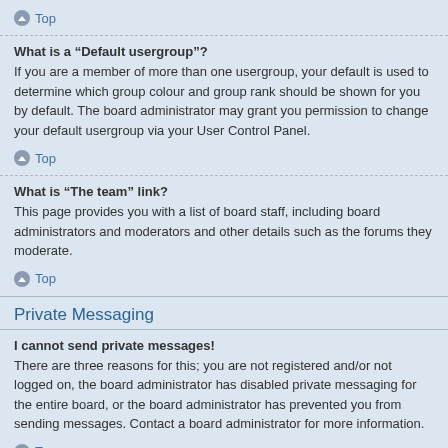Top
What is a “Default usergroup”?
If you are a member of more than one usergroup, your default is used to determine which group colour and group rank should be shown for you by default. The board administrator may grant you permission to change your default usergroup via your User Control Panel.
Top
What is “The team” link?
This page provides you with a list of board staff, including board administrators and moderators and other details such as the forums they moderate.
Top
Private Messaging
I cannot send private messages!
There are three reasons for this; you are not registered and/or not logged on, the board administrator has disabled private messaging for the entire board, or the board administrator has prevented you from sending messages. Contact a board administrator for more information.
Top